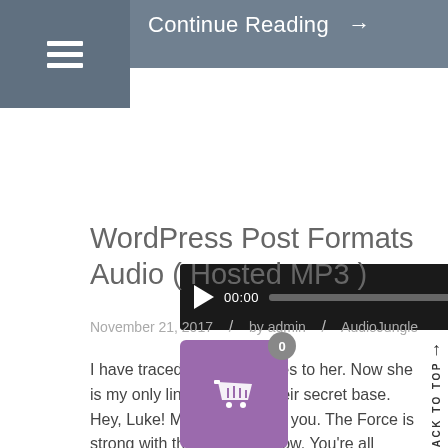[Figure (screenshot): Navigation bar with hamburger menu icon and 'Continue Reading →' link on grey background]
[Figure (screenshot): Audio player with dark background, play button, time display 00:00, progress bar, and end time 00:00]
WordPress Post Formats Audio ( Hosted MP3 )
November 21, 2017  /  by admin  /  AudioJungle
I have traced the Rebel spies to her. Now she is my only link to finding their secret base. Hey, Luke! May the with you. The Force is strong with this one. I now. You're all clear, kid. Let's blow this thing and go home! But with the blast shield down,